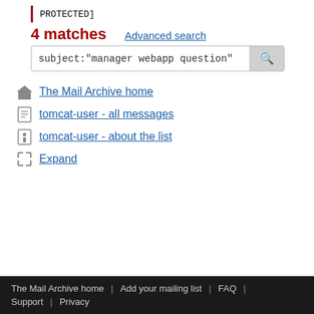PROTECTED]
4 matches
Advanced search
subject:"manager webapp question"
The Mail Archive home
tomcat-user - all messages
tomcat-user - about the list
Expand
The Mail Archive home | Add your mailing list | FAQ | Support | Privacy